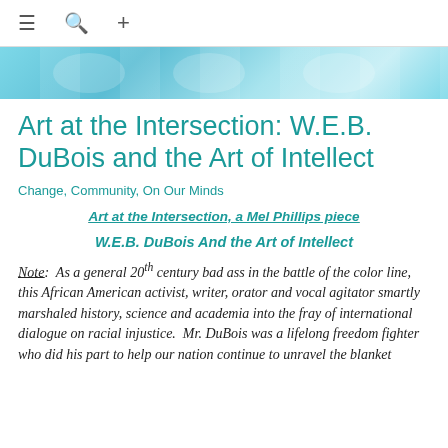≡  🔍  +
[Figure (photo): Partial blue-toned artwork image visible at top of page, cropped]
Art at the Intersection: W.E.B. DuBois and the Art of Intellect
Change, Community, On Our Minds
Art at the Intersection, a Mel Phillips piece
W.E.B. DuBois And the Art of Intellect
Note:  As a general 20th century bad ass in the battle of the color line, this African American activist, writer, orator and vocal agitator smartly marshaled history, science and academia into the fray of international dialogue on racial injustice.  Mr. DuBois was a lifelong freedom fighter who did his part to help our nation continue to unravel the blanket